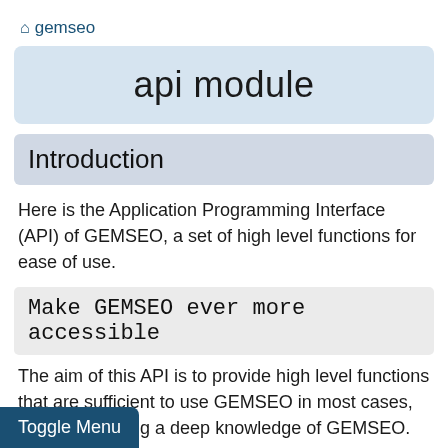gemseo
api module
Introduction
Here is the Application Programming Interface (API) of GEMSEO, a set of high level functions for ease of use.
Make GEMSEO ever more accessible
The aim of this API is to provide high level functions that are sufficient to use GEMSEO in most cases, without requiring a deep knowledge of GEMSEO.
Besides, these functions shall change much less often than the internal classes, which is key for backward compatibility, which means ensuring that your current